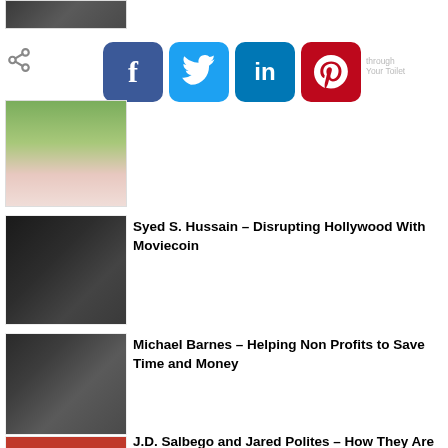[Figure (photo): Portrait photo of a person (top, partial)]
[Figure (infographic): Social share icon and social media buttons: Facebook, Twitter, LinkedIn, Pinterest]
[Figure (photo): Portrait photo of a young woman in floral top]
[Figure (photo): Portrait photo of Syed S. Hussain in dark suit]
Syed S. Hussain – Disrupting Hollywood With Moviecoin
[Figure (photo): Portrait photo of Michael Barnes]
Michael Barnes – Helping Non Profits to Save Time and Money
[Figure (photo): Partial thumbnail for J.D. Salbego and Jared Polites article]
J.D. Salbego and Jared Polites – How They Are